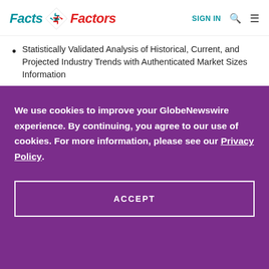Facts & Factors | SIGN IN
Statistically Validated Analysis of Historical, Current, and Projected Industry Trends with Authenticated Market Sizes Information
We use cookies to improve your GlobeNewswire experience. By continuing, you agree to our use of cookies. For more information, please see our Privacy Policy.
ACCEPT